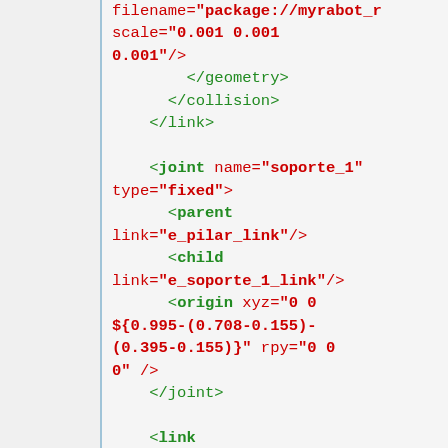filename="package://myrabot_r... scale="0.001 0.001 0.001"/> </geometry> </collision> </link> <joint name="soporte_1" type="fixed"> <parent link="e_pilar_link"/> <child link="e_soporte_1_link"/> <origin xyz="0 0 ${0.995-(0.708-0.155)-(0.395-0.155)}" rpy="0 0 0" /> </joint> <link name="e_soporte_1_link"> <inertial> <mass value="0.05"/> <origin rpy="0 0 0" xyz="0 0 ${0.64/2}"/>